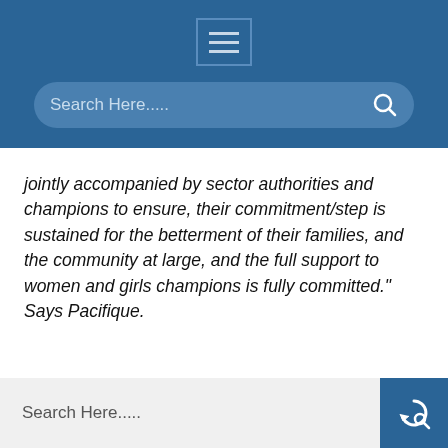[Figure (screenshot): Blue navigation header bar with hamburger menu icon (three horizontal lines in a bordered box) and a rounded search bar with placeholder text 'Search Here.....' and a search icon on the right]
jointly accompanied by sector authorities and champions to ensure, their commitment/step is sustained for the betterment of their families, and the community at large, and the full support to women and girls champions is fully committed.” Says Pacifique.
[Figure (screenshot): Footer search bar with placeholder text 'Search Here.....' on a light grey background and a blue search button with a circular arrow/search icon on the right]